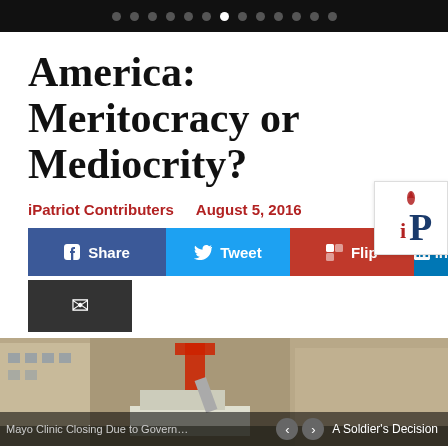Navigation dots header bar
America: Meritocracy or Mediocrity?
iPatriot Contributers   August 5, 2016
[Figure (logo): iPatriot logo with flame above letter i and bold P]
[Figure (infographic): Social share buttons: Share (Facebook), Tweet (Twitter), Flip (Flipboard), LinkedIn, and email button]
[Figure (photo): Street-level photo of urban buildings with construction equipment including a ladder truck, red crane or lift visible]
Mayo Clinic Closing Due to Govern…   < >   A Soldier's Decision